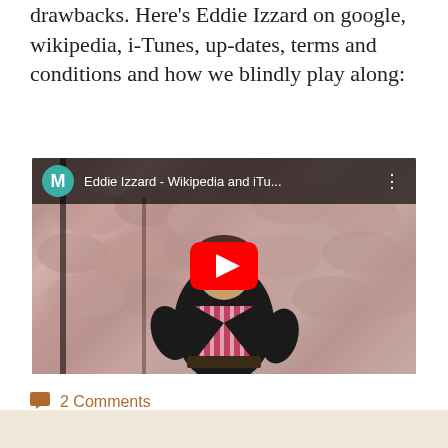drawbacks. Here's Eddie Izzard on google, wikipedia, i-Tunes, up-dates, terms and conditions and how we blindly play along:
[Figure (screenshot): YouTube video embed showing Eddie Izzard - Wikipedia and iTu... with a teal M avatar icon, three-dot menu, and red YouTube play button over a thumbnail of a man in a striped shirt and black jacket standing in front of a stone wall]
2 Comments